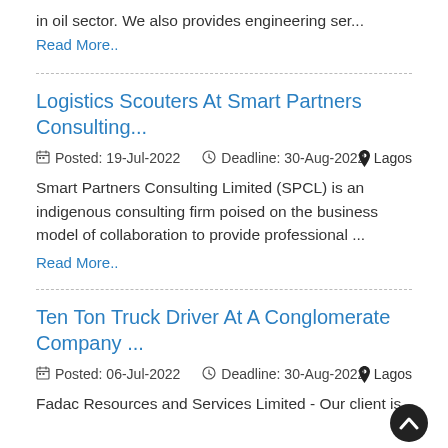in oil sector. We also provides engineering ser...
Read More..
Logistics Scouters At Smart Partners Consulting...
Posted: 19-Jul-2022   Deadline: 30-Aug-2022   Lagos
Smart Partners Consulting Limited (SPCL) is an indigenous consulting firm poised on the business model of collaboration to provide professional ...
Read More..
Ten Ton Truck Driver At A Conglomerate Company ...
Posted: 06-Jul-2022   Deadline: 30-Aug-2022   Lagos
Fadac Resources and Services Limited - Our client is